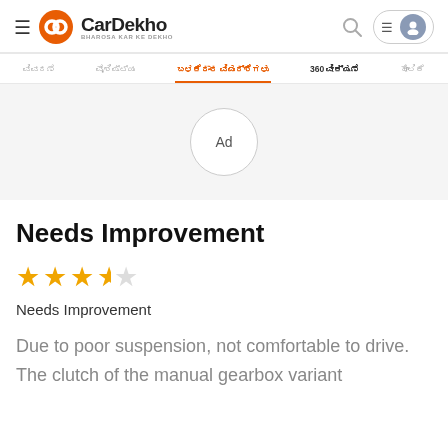CarDekho - BHAROSA KAR KE DEKHO
[Figure (logo): CarDekho logo with orange circular icon and text 'CarDekho' with tagline 'BHAROSA KAR KE DEKHO']
[Figure (infographic): Navigation tabs in Kannada script with '360 ವೀಕ್ಷಣೆ' tab in English/Kannada and one active tab highlighted in orange]
[Figure (other): Ad placeholder circle with 'Ad' text on grey background]
Needs Improvement
[Figure (other): 3.5 out of 5 star rating — three full orange stars, one half orange star, one empty star]
Needs Improvement
Due to poor suspension, not comfortable to drive. The clutch of the manual gearbox variant